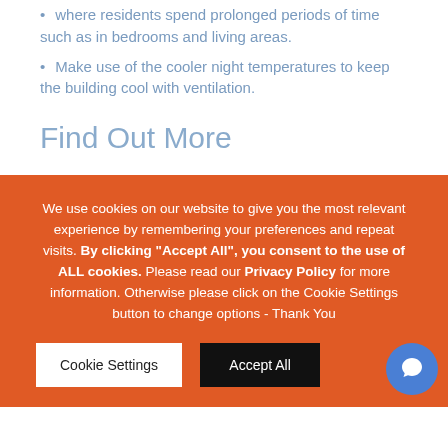where residents spend prolonged periods of time such as in bedrooms and living areas.
Make use of the cooler night temperatures to keep the building cool with ventilation.
Find Out More
We use cookies on our website to give you the most relevant experience by remembering your preferences and repeat visits. By clicking “Accept All”, you consent to the use of ALL cookies. Please read our Privacy Policy for more information. Otherwise please click on the Cookie Settings button to change options - Thank You